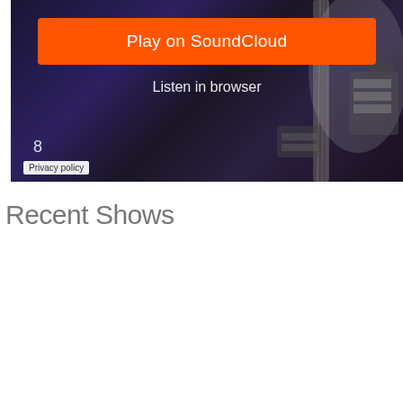[Figure (screenshot): SoundCloud embedded player with orange 'Play on SoundCloud' button, 'Listen in browser' text, number 8, and Privacy policy label over dark purple music background]
Recent Shows
[Figure (screenshot): YouTube embedded video thumbnail showing 'Suit & Tie - Live at Strangeways ...' with bOn channel logo (yellow circle), band performing on stage with green lighting, red YouTube play button overlay]